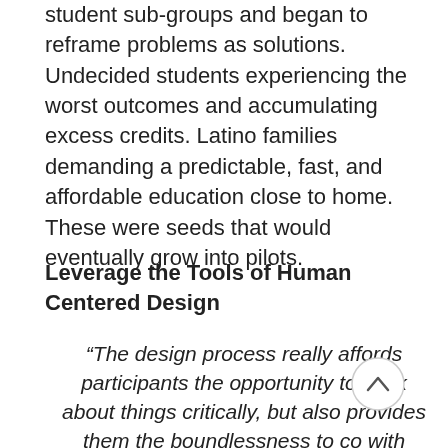student sub-groups and began to reframe problems as solutions. Undecided students experiencing the worst outcomes and accumulating excess credits. Latino families demanding a predictable, fast, and affordable education close to home. These were seeds that would eventually grow into pilots.
Leverage the Tools of Human Centered Design
“The design process really affords participants the opportunity to think about things critically, but also provides them the boundlessness to co… with some things that they wou…t have otherwise. It really challenges them